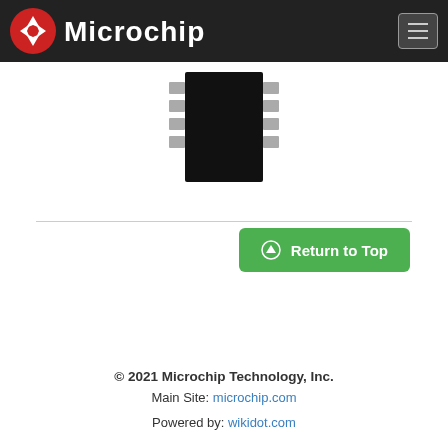Microchip
[Figure (schematic): IC chip package illustration — black rectangular body with gray pins on left and right sides (SOIC/DIP style package)]
Return to Top
© 2021 Microchip Technology, Inc.
Main Site: microchip.com
Powered by: wikidot.com